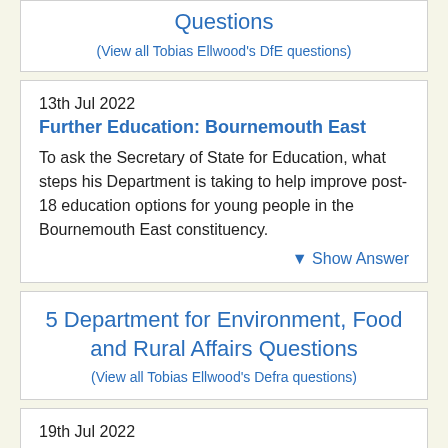Questions
(View all Tobias Ellwood's DfE questions)
13th Jul 2022
Further Education: Bournemouth East
To ask the Secretary of State for Education, what steps his Department is taking to help improve post-18 education options for young people in the Bournemouth East constituency.
Show Answer
5 Department for Environment, Food and Rural Affairs Questions
(View all Tobias Ellwood's Defra questions)
19th Jul 2022
Litter